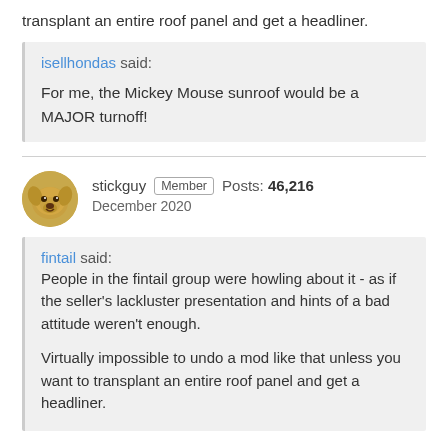transplant an entire roof panel and get a headliner.
isellhondas said:
For me, the Mickey Mouse sunroof would be a MAJOR turnoff!
stickguy Member Posts: 46,216
December 2020
fintail said:
People in the fintail group were howling about it - as if the seller's lackluster presentation and hints of a bad attitude weren't enough.

Virtually impossible to undo a mod like that unless you want to transplant an entire roof panel and get a headliner.